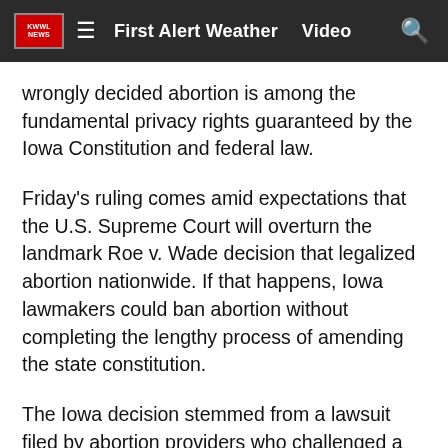First Alert Weather  Video
wrongly decided abortion is among the fundamental privacy rights guaranteed by the Iowa Constitution and federal law.
Friday's ruling comes amid expectations that the U.S. Supreme Court will overturn the landmark Roe v. Wade decision that legalized abortion nationwide. If that happens, Iowa lawmakers could ban abortion without completing the lengthy process of amending the state constitution.
The Iowa decision stemmed from a lawsuit filed by abortion providers who challenged a 2020 law that required a 24-hour waiting period before a woman can get an abortion. A judge who struck down the law cited the state high court's 2018 ruling. The judge also concluded that the law violated rules prohibiting passage of bills with